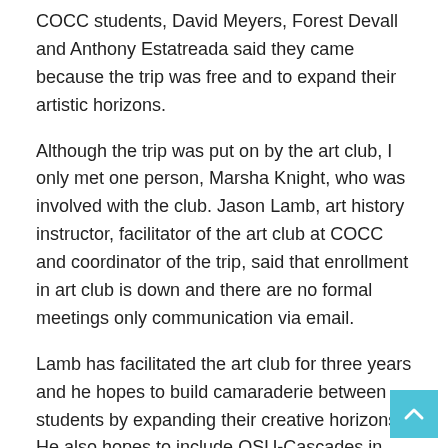COCC students, David Meyers, Forest Devall and Anthony Estatreada said they came because the trip was free and to expand their artistic horizons.
Although the trip was put on by the art club, I only met one person, Marsha Knight, who was involved with the club. Jason Lamb, art history instructor, facilitator of the art club at COCC and coordinator of the trip, said that enrollment in art club is down and there are no formal meetings only communication via email.
Lamb has facilitated the art club for three years and he hopes to build camaraderie between students by expanding their creative horizons. He also hopes to include OSU-Cascades in the future. Lamb will continue to single handedly run the art club in the meantime.
Lamb said his favorite part of the museum trip is listening to